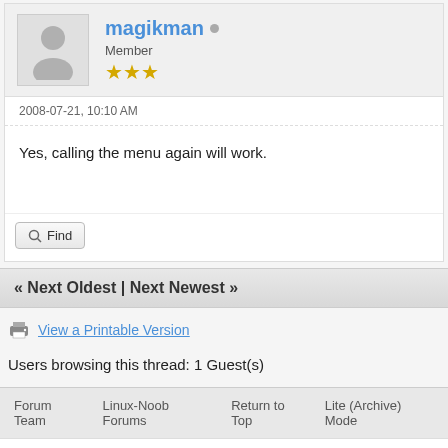magikman
Member
2008-07-21, 10:10 AM
Yes, calling the menu again will work.
« Next Oldest | Next Newest »
View a Printable Version
Users browsing this thread: 1 Guest(s)
Forum Team   Linux-Noob Forums   Return to Top   Lite (Archive) Mode
Powered By MyBB, © 2002-2022 MyBB Group.